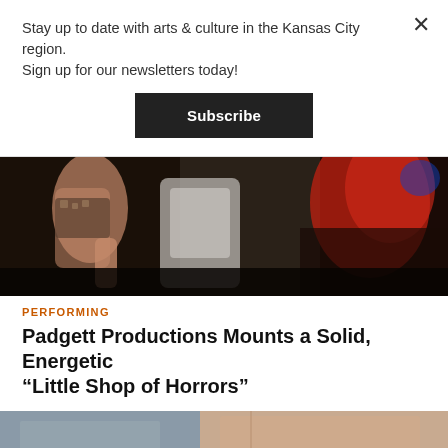Stay up to date with arts & culture in the Kansas City region. Sign up for our newsletters today!
Subscribe
[Figure (photo): Dark theatrical performance photo showing performers in close physical contact on a dark stage, with red costume element visible on the right]
PERFORMING
Padgett Productions Mounts a Solid, Energetic “Little Shop of Horrors”
[Figure (photo): Partial photo showing a grey and beige interior scene, bottom of page, cropped]